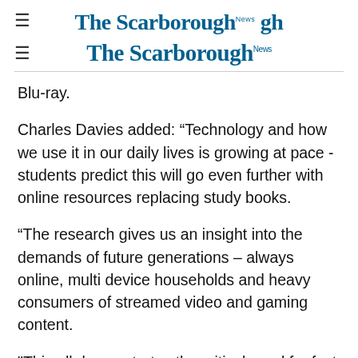The Scarborough News
Blu-ray.
Charles Davies added: “Technology and how we use it in our daily lives is growing at pace - students predict this will go even further with online resources replacing study books.
“The research gives us an insight into the demands of future generations – always online, multi device households and heavy consumers of streamed video and gaming content.
"This all demonstrates the critical need for fast